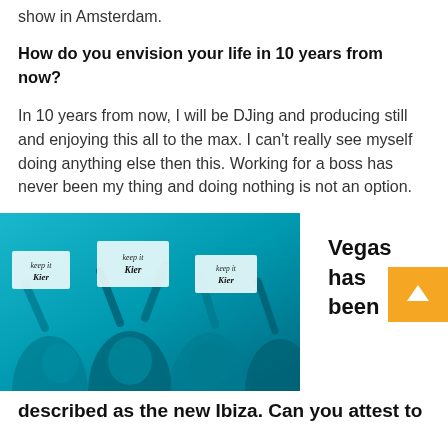show in Amsterdam.
How do you envision your life in 10 years from now?
In 10 years from now, I will be DJing and producing still and enjoying this all to the max. I can't really see myself doing anything else then this. Working for a boss has never been my thing and doing nothing is not an option.
[Figure (photo): Crowd of people at a concert or club event, holding up signs with calligraphic text reading 'keep it Kier', tinted in blue/cyan. People smiling and raising signs.]
Vegas has been
described as the new Ibiza. Can you attest to